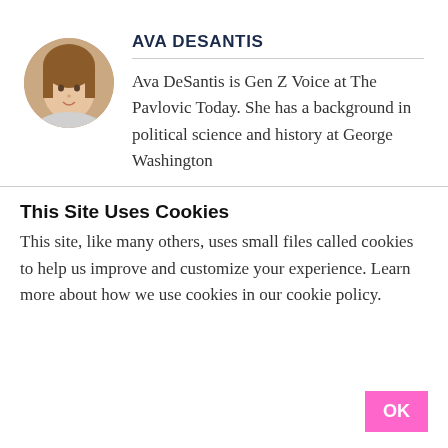[Figure (photo): Circular avatar photo of Ava DeSantis, a young woman with brown hair]
AVA DESANTIS
Ava DeSantis is Gen Z Voice at The Pavlovic Today. She has a background in political science and history at George Washington University.
This Site Uses Cookies
This site, like many others, uses small files called cookies to help us improve and customize your experience. Learn more about how we use cookies in our cookie policy.